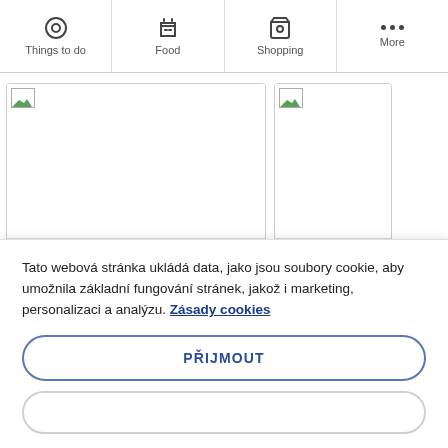Things to do | Food | Shopping | More
[Figure (screenshot): Two hotel listing cards: D&D Inn Khaosan (partially visible) and Rambuttri (partially visible), each with a broken image placeholder]
D&D Inn Khaosan
3 hvězdičku
Rambuttri
3 hvězdičku
Tato webová stránka ukládá data, jako jsou soubory cookie, aby umožnila základní fungování stránek, jakož i marketing, personalizaci a analýzu. Zásady cookies
PŘIJMOUT